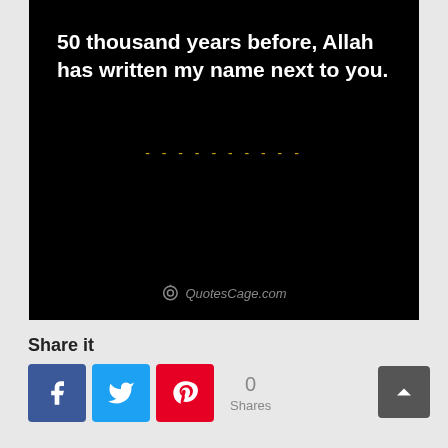[Figure (illustration): Black background quote image with white text reading '50 thousand years before, Allah has written my name next to you.' with a golden dashed divider line and QuotesCage.com watermark at the bottom.]
Share it
[Figure (infographic): Social share buttons: Facebook (blue), Twitter (light blue), Pinterest (red), showing 0 Shares count, and a back-to-top arrow button (dark gray) on the right.]